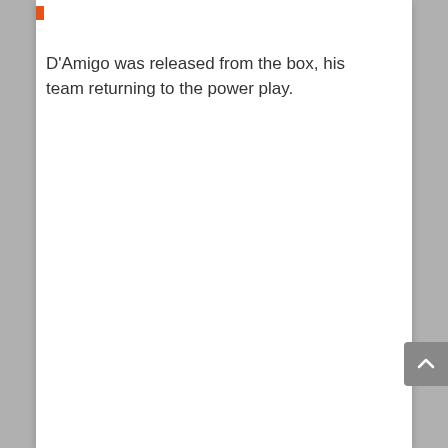D'Amigo was released from the box, his team returning to the power play.